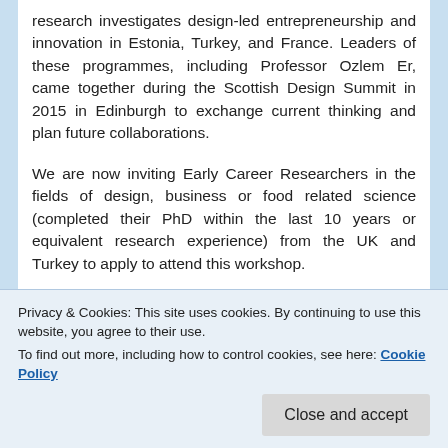research investigates design-led entrepreneurship and innovation in Estonia, Turkey, and France. Leaders of these programmes, including Professor Ozlem Er, came together during the Scottish Design Summit in 2015 in Edinburgh to exchange current thinking and plan future collaborations.
We are now inviting Early Career Researchers in the fields of design, business or food related science (completed their PhD within the last 10 years or equivalent research experience) from the UK and Turkey to apply to attend this workshop.
[Figure (photo): Apply button (blue rectangle with text 'Apply') and a partial photo of a person on the right side]
Privacy & Cookies: This site uses cookies. By continuing to use this website, you agree to their use.
To find out more, including how to control cookies, see here: Cookie Policy
Close and accept